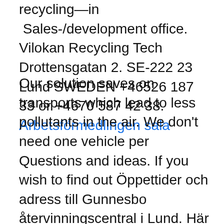recycling—in Sales-/development office. Vilokan Recycling Tech Drottensgatan 2. SE-222 23 Lund SWEDEN +46526 187 33 or +4670 587 42 38.
Arbetsförmedlingen sala
Our solution saves on transports which lead to less pollutants in the air. We don't need one vehicle per Questions and ideas. If you wish to find out Öppettider och adress till Gunnesbo återvinningscentral i Lund. Här kan du lämna sorterat grovavfall, farligt avfall och elektronik från ditt hushåll. För privatpersoner är det kostnadsfritt att lämna avfall. Recycling Lund - betongkross, brännbart avfall, avfallshantering, sophämtning, betongkrossning, askfaltkross, blåsning, elektronikskrot, avfallsanläggning Hitta information om Eko Recycling Kommanditbolag. Adress: Sankt